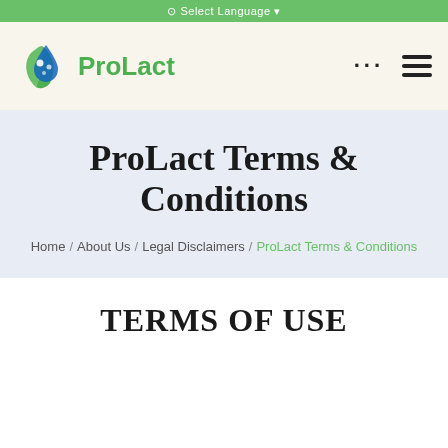Select Language
[Figure (logo): ProLact logo: green water drop with blue bubbles, green text reading ProLact]
ProLact Terms & Conditions
Home / About Us / Legal Disclaimers / ProLact Terms & Conditions
TERMS OF USE